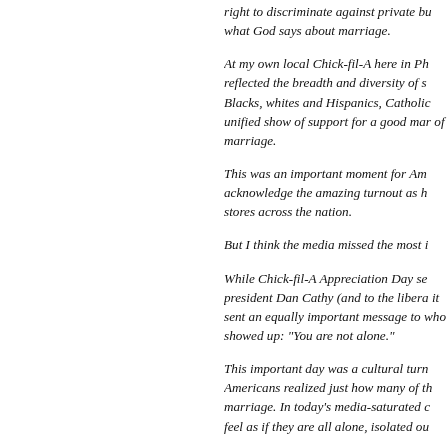right to discriminate against private bu what God says about marriage.
At my own local Chick-fil-A here in Ph reflected the breadth and diversity of s Blacks, whites and Hispanics, Catholic unified show of support for a good mar of marriage.
This was an important moment for Am acknowledge the amazing turnout as h stores across the nation.
But I think the media missed the most i
While Chick-fil-A Appreciation Day se president Dan Cathy (and to the libera it sent an equally important message to who showed up: "You are not alone."
This important day was a cultural turn Americans realized just how many of th marriage. In today's media-saturated c feel as if they are all alone, isolated ou